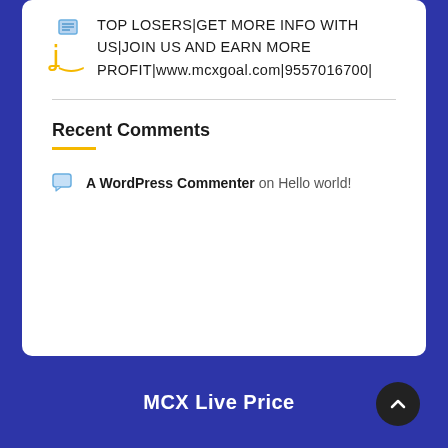TOP LOSERS|GET MORE INFO WITH US|JOIN US AND EARN MORE PROFIT|www.mcxgoal.com|9557016700|
Recent Comments
A WordPress Commenter on Hello world!
MCX Live Price